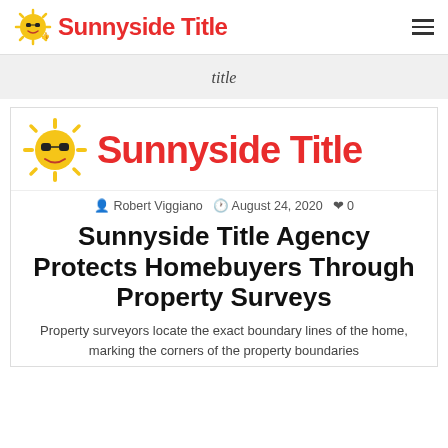Sunnyside Title
title
[Figure (logo): Sunnyside Title logo with sun character wearing sunglasses and giving thumbs up, with red bold text 'Sunnyside Title']
Robert Viggiano  August 24, 2020  0
Sunnyside Title Agency Protects Homebuyers Through Property Surveys
Property surveyors locate the exact boundary lines of the home, marking the corners of the property boundaries